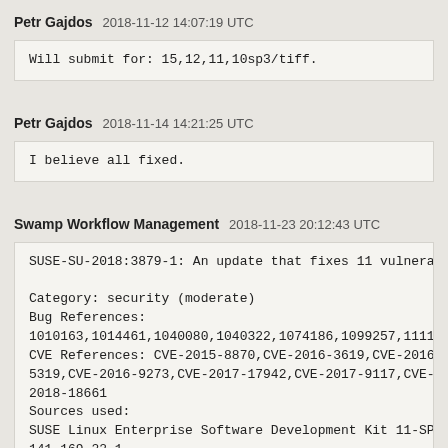Petr Gajdos   2018-11-12 14:07:19 UTC
Will submit for: 15,12,11,10sp3/tiff.
Petr Gajdos   2018-11-14 14:21:25 UTC
I believe all fixed.
Swamp Workflow Management   2018-11-23 20:12:43 UTC
SUSE-SU-2018:3879-1: An update that fixes 11 vulnerabi...

Category: security (moderate)
Bug References:
1010163,1014461,1040080,1040322,1074186,1099257,111367...
CVE References: CVE-2015-8870,CVE-2016-3619,CVE-2016-3...
5319,CVE-2016-9273,CVE-2017-17942,CVE-2017-9117,CVE-20...
2018-18661
Sources used:
SUSE Linux Enterprise Software Development Kit 11-SP4 ...
141.169.22.1
SUSE Linux Enterprise Server 11-SP4 (src):    tiff-3.8...
SUSE Linux Enterprise Debuginfo 11-SP4 (src):    tiff-...